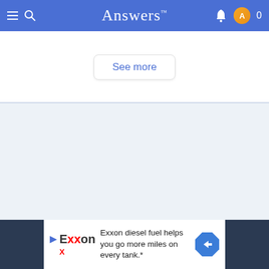Answers™
See more
[Figure (screenshot): Light blue empty content area]
[Figure (other): Exxon advertisement banner: Exxon diesel fuel helps you go more miles on every tank.*]